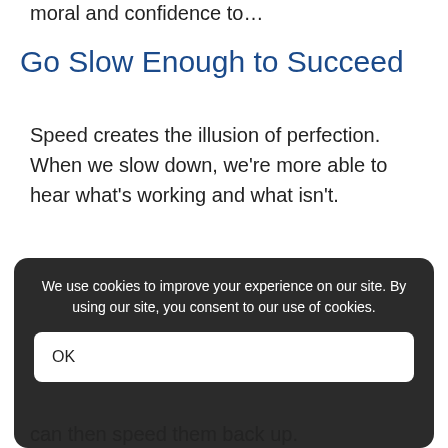moral and confidence to…
Go Slow Enough to Succeed
Speed creates the illusion of perfection. When we slow down, we're more able to hear what's working and what isn't.
When we slow down, we can exaggerate our swells and fades. We can take extra time to
We use cookies to improve your experience on our site. By using our site, you consent to our use of cookies.
OK
can then speed them back up.